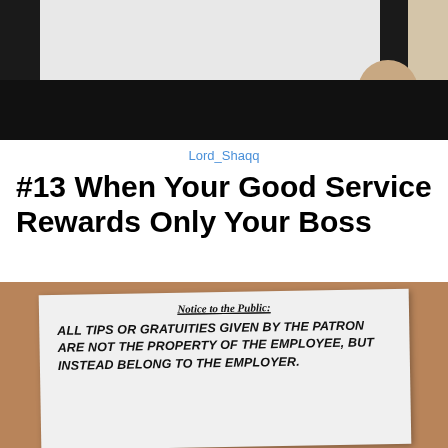[Figure (photo): Top portion of a photo showing a person with dark hair against a light background and beige wall]
Lord_Shaqq
#13 When Your Good Service Rewards Only Your Boss
[Figure (photo): Photo of a notice posted on a corkboard that reads: 'Notice to the Public: ALL TIPS OR GRATUITIES GIVEN BY THE PATRON ARE NOT THE PROPERTY OF THE EMPLOYEE, BUT INSTEAD BELONG TO THE EMPLOYER.']